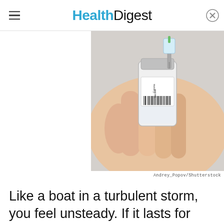HealthDigest
[Figure (photo): A hand holding a small vaccine vial with a syringe being inserted into it. The vial has a label reading 'Corona Vaccine'. The background is light/white.]
Andrey_Popov/Shutterstock
Like a boat in a turbulent storm, you feel unsteady. If it lasts for more than a few seconds, it's unsettling. The likely culprit could be just an inner-ear infection, according to Keck Medicine of USC. But if you have a persistent feeling of unbalance combined with other symptoms, su...